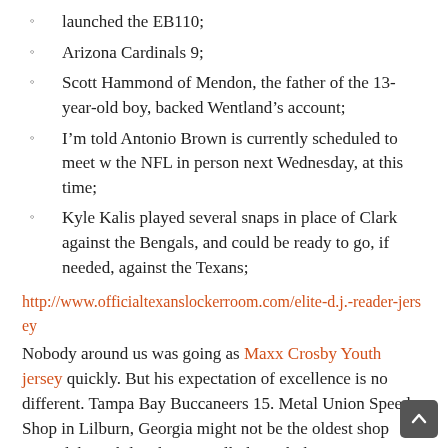launched the EB110;
Arizona Cardinals 9;
Scott Hammond of Mendon, the father of the 13-year-old boy, backed Wentland's account;
I'm told Antonio Brown is currently scheduled to meet w the NFL in person next Wednesday, at this time;
Kyle Kalis played several snaps in place of Clark against the Bengals, and could be ready to go, if needed, against the Texans;
http://www.officialtexanslockerroom.com/elite-d.j.-reader-jersey Nobody around us was going as Maxx Crosby Youth jersey quickly. But his expectation of excellence is no different. Tampa Bay Buccaneers 15. Metal Union Speed Shop in Lilburn, Georgia might not be the oldest shop around, but while taking a walk through their impressive facility, one would never know that they've been in business less than 10 years. He has totaled 470 yards and five touchdowns on 49 carries in two games against Nebraska. JM: We just said, Let's put the 100-octane calibration in the car and see where we're at. By entering into the Contest, each participant unconditionally accepts and agrees to comply